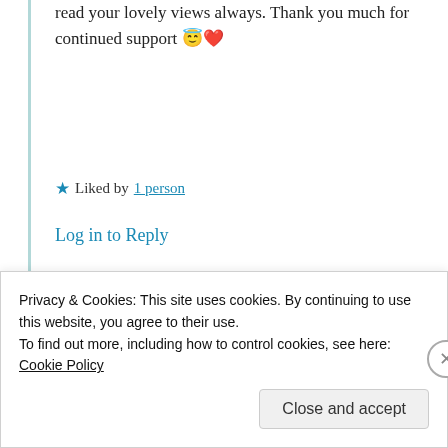read your lovely views always. Thank you much for continued support 😇❤️
★ Liked by 1 person
Log in to Reply
Thattamma
C.G Menon
7th Jul 2021 at 2:00
[Figure (photo): Circular avatar photo of a woman with short dark hair wearing a teal top and necklace]
Privacy & Cookies: This site uses cookies. By continuing to use this website, you agree to their use.
To find out more, including how to control cookies, see here: Cookie Policy
Close and accept